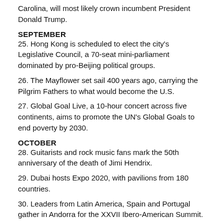Carolina, will most likely crown incumbent President Donald Trump.
SEPTEMBER
25. Hong Kong is scheduled to elect the city's Legislative Council, a 70-seat mini-parliament dominated by pro-Beijing political groups.
26. The Mayflower set sail 400 years ago, carrying the Pilgrim Fathers to what would become the U.S.
27. Global Goal Live, a 10-hour concert across five continents, aims to promote the UN's Global Goals to end poverty by 2030.
OCTOBER
28. Guitarists and rock music fans mark the 50th anniversary of the death of Jimi Hendrix.
29. Dubai hosts Expo 2020, with pavilions from 180 countries.
30. Leaders from Latin America, Spain and Portugal gather in Andorra for the XXVII Ibero-American Summit.
NOVEMBER
31. The U.S. holds presidential and congressional elections.